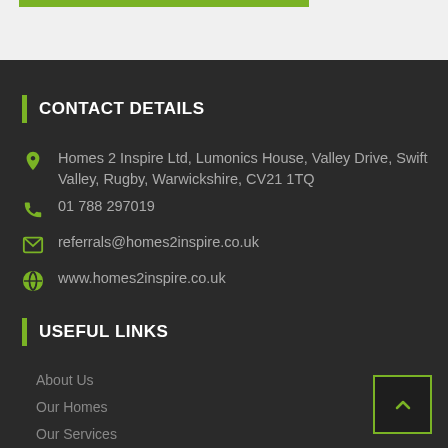CONTACT DETAILS
Homes 2 Inspire Ltd, Lumonics House, Valley Drive, Swift Valley, Rugby, Warwickshire, CV21 1TQ
01 788 297019
referrals@homes2inspire.co.uk
www.homes2inspire.co.uk
USEFUL LINKS
About Us
Our Homes
Our Services